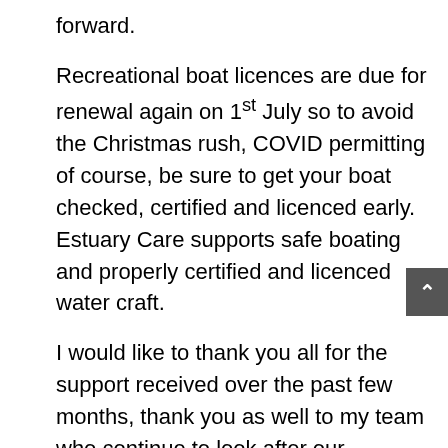forward.
Recreational boat licences are due for renewal again on 1st July so to avoid the Christmas rush, COVID permitting of course, be sure to get your boat checked, certified and licenced early. Estuary Care supports safe boating and properly certified and licenced water craft.
I would like to thank you all for the support received over the past few months, thank you as well to my team who continue to look after our Estuaries, our beaches and our environment so tirelessly and with so much enthusiasm every day.
Stay safe, stay healthy and for goodness sakes stay behind those masks!